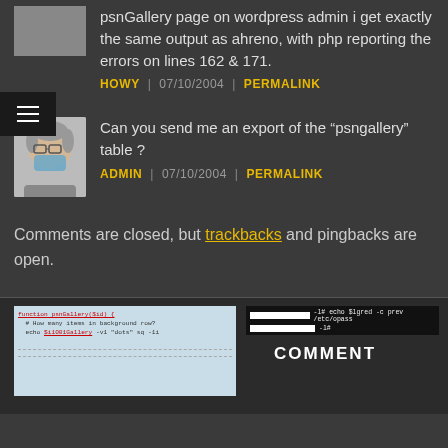psnGallery page on wordpress admin i get exactly the same output as ahreno, with php reporting the errors on lines 162 & 171.
HOWY | 07/10/2004 | PERMALINK
[Figure (photo): Avatar of a person wearing a mask with grey hair and glasses]
Can you send me an export of the “psngallery” table ?
ADMIN | 07/10/2004 | PERMALINK
Comments are closed, but trackbacks and pingbacks are open.
[Figure (screenshot): Screenshot of code editor showing PHP code]
[Figure (screenshot): Terminal screenshot showing command output with white bars]
COMMENT